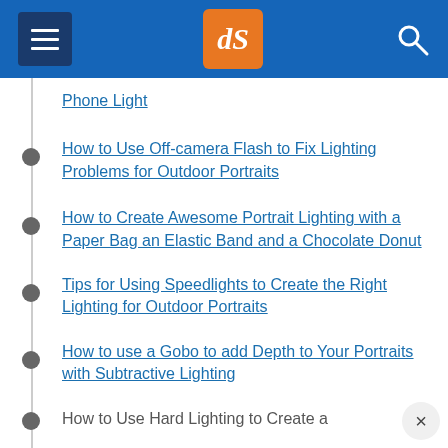dPS navigation header with hamburger menu, logo, and search icon
Phone Light
How to Use Off-camera Flash to Fix Lighting Problems for Outdoor Portraits
How to Create Awesome Portrait Lighting with a Paper Bag an Elastic Band and a Chocolate Donut
Tips for Using Speedlights to Create the Right Lighting for Outdoor Portraits
How to use a Gobo to add Depth to Your Portraits with Subtractive Lighting
How to Use Hard Lighting to Create a